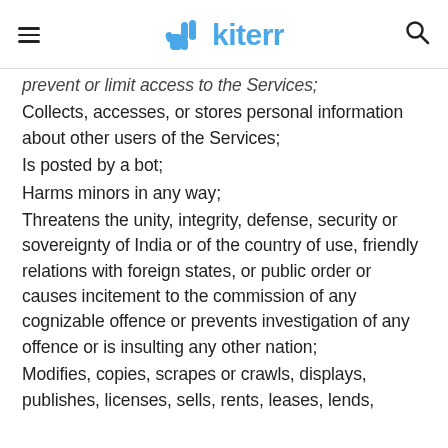kiterr
prevent or limit access to the Services;
Collects, accesses, or stores personal information about other users of the Services;
Is posted by a bot;
Harms minors in any way;
Threatens the unity, integrity, defense, security or sovereignty of India or of the country of use, friendly relations with foreign states, or public order or causes incitement to the commission of any cognizable offence or prevents investigation of any offence or is insulting any other nation;
Modifies, copies, scrapes or crawls, displays, publishes, licenses, sells, rents, leases, lends,